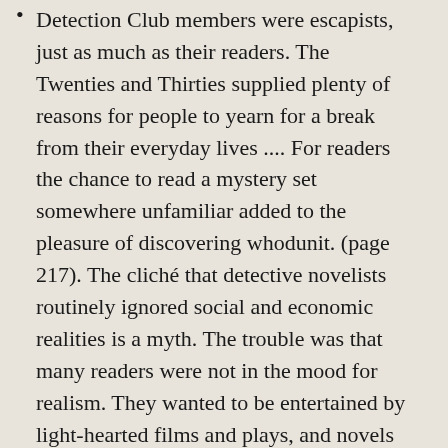Detection Club members were escapists, just as much as their readers. The Twenties and Thirties supplied plenty of reasons for people to yearn for a break from their everyday lives .... For readers the chance to read a mystery set somewhere unfamiliar added to the pleasure of discovering whodunit. (page 217). The cliché that detective novelists routinely ignored social and economic realities is a myth. The trouble was that many readers were not in the mood for realism. They wanted to be entertained by light-hearted films and plays, and novels set in fascinating places. (Pages 260-61). Information Received, the debut novel of Punshon's policeman hero Booby Owen, which earned Sayers' admiration contradicts the glib assumption